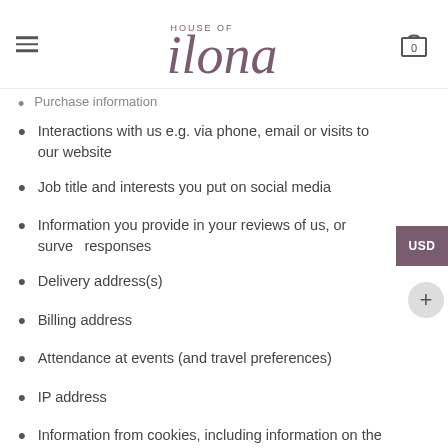House of Ilona
Purchase information
Interactions with us e.g. via phone, email or visits to our website
Job title and interests you put on social media
Information you provide in your reviews of us, or survey responses
Delivery address(s)
Billing address
Attendance at events (and travel preferences)
IP address
Information from cookies, including information on the devices you may use to make a purchase